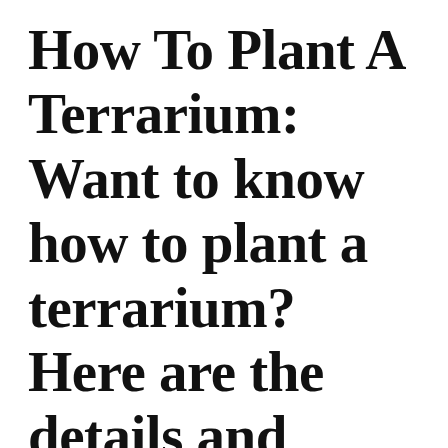How To Plant A Terrarium: Want to know how to plant a terrarium? Here are the details and materials needed to get that gorgeous, lush terrarium on